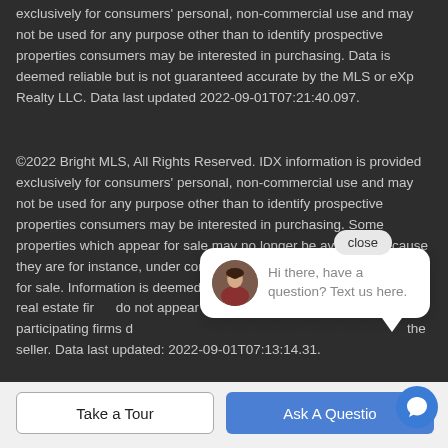exclusively for consumers' personal, non-commercial use and may not be used for any purpose other than to identify prospective properties consumers may be interested in purchasing. Data is deemed reliable but is not guaranteed accurate by the MLS or eXp Realty LLC. Data last updated 2022-09-01T07:21:40.097.
©2022 Bright MLS, All Rights Reserved. IDX information is provided exclusively for consumers' personal, non-commercial use and may not be used for any purpose other than to identify prospective properties consumers may be interested in purchasing. Some properties which appear for sale may no longer be available because they are for instance, under contract, or are no longer being offered for sale. Information is deemed reliable but is not guaranteed. Some real estate firms do not appear on this website at the request of the seller. Data last updated: 2022-09-01T07:13:14.31.
[Figure (screenshot): Chat popup with avatar photo of a woman and text 'Hi there, have a question? Text us here.' with a close button]